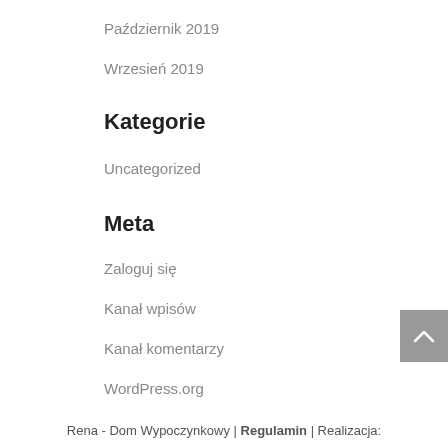Październik 2019
Wrzesień 2019
Kategorie
Uncategorized
Meta
Zaloguj się
Kanał wpisów
Kanał komentarzy
WordPress.org
Rena - Dom Wypoczynkowy | Regulamin | Realizacja: